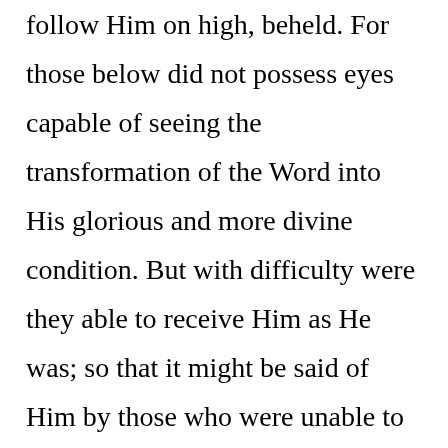follow Him on high, beheld. For those below did not possess eyes capable of seeing the transformation of the Word into His glorious and more divine condition. But with difficulty were they able to receive Him as He was; so that it might be said of Him by those who were unable to behold His more excellent nature: "We saw Him, and He had no form nor comeliness; but His form was mean,67 and inferior to that of the sons of men."68 And let these remarks be an answer to the suppositions of Celsus, who does not understand the changes or